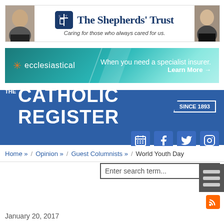[Figure (advertisement): The Shepherds' Trust banner ad with two faces on sides, logo and text: Caring for those who always cared for us.]
[Figure (advertisement): Ecclesiastical insurance ad: When you need a specialist insurer. Learn More →]
THE CATHOLIC REGISTER SINCE 1893
Home » / Opinion » / Guest Columnists » / World Youth Day
Enter search term...
January 20, 2017